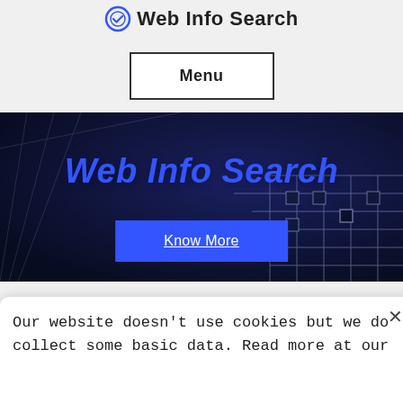Web Info Search
Menu
[Figure (screenshot): Dark tech background hero image with 'Web Info Search' text in blue italic and a blue 'Know More' button]
Our website doesn't use cookies but we do collect some basic data. Read more at our